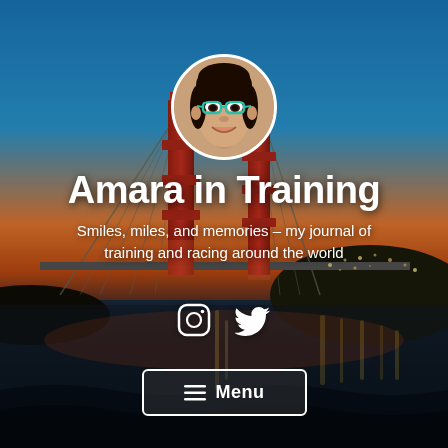[Figure (photo): Golden Gate Bridge at dusk with city lights reflecting on the water, serving as the full-page background image]
[Figure (photo): Circular avatar photo of a young Asian woman smiling, wearing teal-framed glasses, with dark hair]
Amara in Training
Smiles, miles, and memories – my journal of training and racing around the world
[Figure (infographic): Instagram and Twitter social media icons in white]
≡ Menu